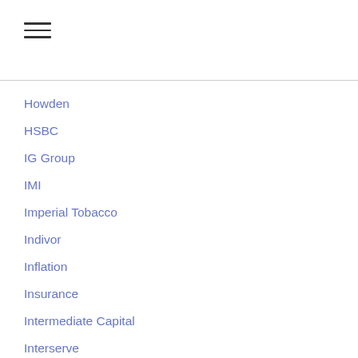[Figure (other): Hamburger menu icon with three horizontal lines]
Howden
HSBC
IG Group
IMI
Imperial Tobacco
Indivor
Inflation
Insurance
Intermediate Capital
Interserve
Investec
Investment Trusts
It
ITV
James Halstead
Jarvis Investment Management
JLT